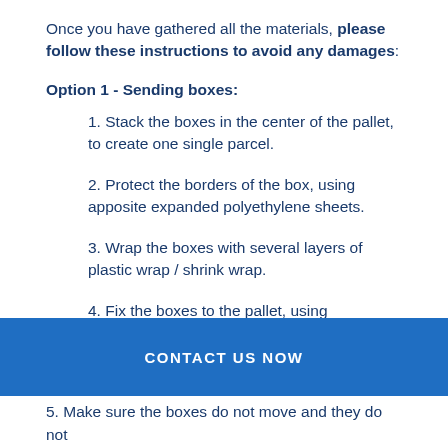Once you have gathered all the materials, please follow these instructions to avoid any damages:
Option 1 - Sending boxes:
1. Stack the boxes in the center of the pallet, to create one single parcel.
2. Protect the borders of the box, using apposite expanded polyethylene sheets.
3. Wrap the boxes with several layers of plastic wrap / shrink wrap.
4. Fix the boxes to the pallet, using polypropylene
CONTACT US NOW
5. Make sure the boxes do not move and they do not